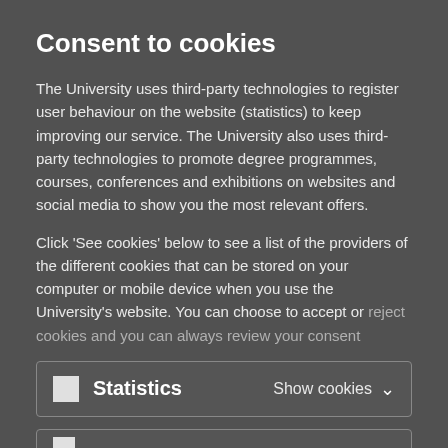Consent to cookies
The University uses third-party technologies to register user behaviour on the website (statistics) to keep improving our service. The University also uses third-party technologies to promote degree programmes, courses, conferences and exhibitions on websites and social media to show you the most relevant offers.
Click 'See cookies' below to see a list of the providers of the different cookies that can be stored on your computer or mobile device when you use the University's website. You can choose to accept or reject cookies and you can always review your consent
Statistics   Show cookies
(second cookie box partially visible)